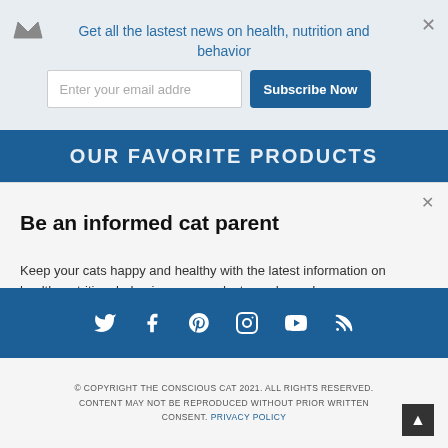Get all the lastest news on health, nutrition and behavior
Enter your email addre
Subscribe Now
OUR FAVORITE PRODUCTS
Be an informed cat parent
Keep your cats happy and healthy with the latest information on health, nutrition, behavior, new products, and more!
Enter your Email
Subscribe Now
[Figure (infographic): Social media icons row: Twitter, Facebook, Pinterest, Instagram, YouTube, RSS]
© COPYRIGHT THE CONSCIOUS CAT 2021. ALL RIGHTS RESERVED. CONTENT MAY NOT BE REPRODUCED WITHOUT PRIOR WRITTEN CONSENT. PRIVACY POLICY